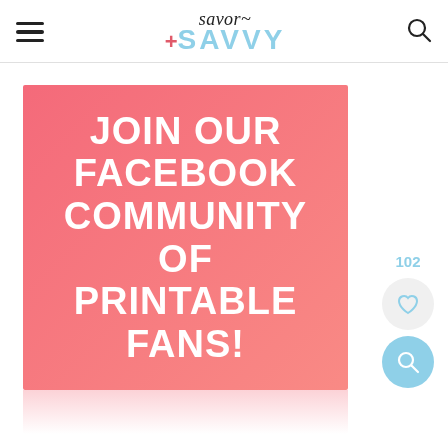Savor + SAVVY — navigation header with hamburger menu and search icon
[Figure (infographic): Pink/coral square banner with bold white uppercase text reading: JOIN OUR FACEBOOK COMMUNITY OF PRINTABLE FANS!]